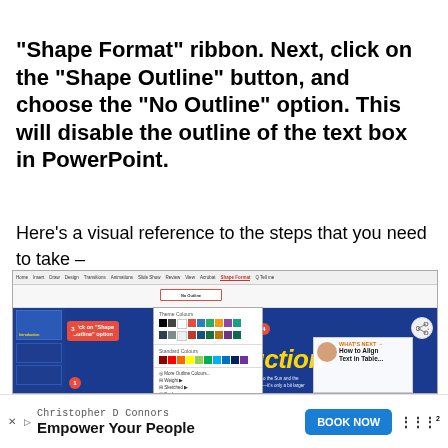"Shape Format" ribbon. Next, click on the "Shape Outline" button, and choose the "No Outline" option. This will disable the outline of the text box in PowerPoint.
Here's a visual reference to the steps that you need to take –
[Figure (screenshot): Screenshot of PowerPoint interface showing the Shape Format ribbon, Shape Outline dropdown with No Outline option selected, and the main slide area showing 'introduction' text. Red callout boxes label: 1) the text box on slide, 2) Click on 'Shape Format', 3) Click on 'Shape Outline' option, 4) Click on the 'No Outline' option. A 'WHAT'S NEXT' panel shows 'How to Align Text in Table...']
Christopher D Connors
Empower Your People
BOOK NOW